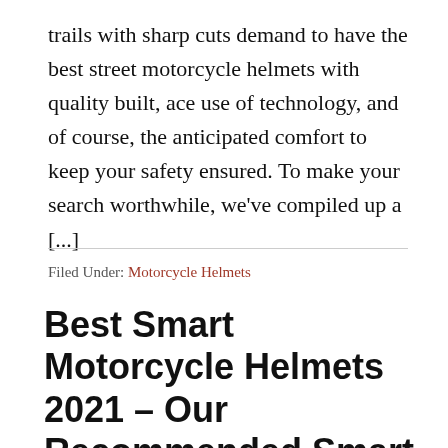trails with sharp cuts demand to have the best street motorcycle helmets with quality built, ace use of technology, and of course, the anticipated comfort to keep your safety ensured. To make your search worthwhile, we've compiled up a [...]
Filed Under: Motorcycle Helmets
Best Smart Motorcycle Helmets 2021 – Our Recommended Smart Helmets For Motorcycles